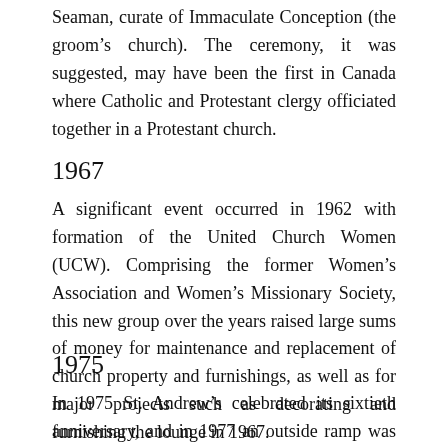Seaman, curate of Immaculate Conception (the groom's church). The ceremony, it was suggested, may have been the first in Canada where Catholic and Protestant clergy officiated together in a Protestant church.
1967
A significant event occurred in 1962 with formation of the United Church Women (UCW). Comprising the former Women's Association and Women's Missionary Society, this new group over the years raised large sums of money for maintenance and replacement of church property and furnishings, as well as for major projects such as decorating and furnishing the lounge in 1967.
1975
In 1975 St. Andrew's celebrated its sixtieth anniversary, and in 1977 an outside ramp was added at the south end of the building to make the sanctuary more accessible.